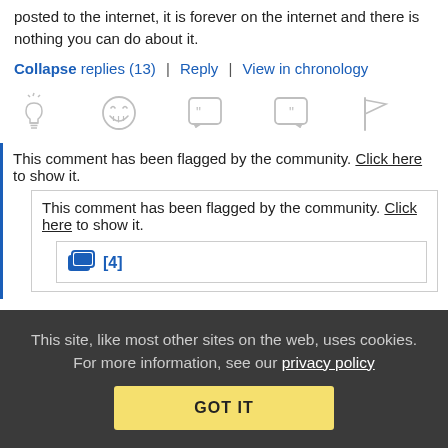posted to the internet, it is forever on the internet and there is nothing you can do about it.
Collapse replies (13) | Reply | View in chronology
[Figure (infographic): Row of 5 comment action icons: lightbulb, laughing emoji, open-quote speech bubble, close-quote speech bubble, flag]
This comment has been flagged by the community. Click here to show it.
This comment has been flagged by the community. Click here to show it.
[4] (chat/replies icon with count)
This site, like most other sites on the web, uses cookies. For more information, see our privacy policy
GOT IT